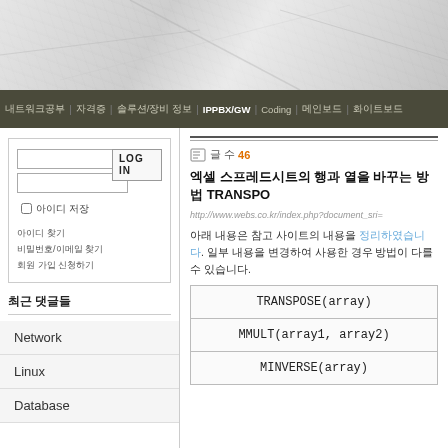[Figure (screenshot): Website header with marble/stone texture background]
내트워크공부 | 자격증 | 솔루션/장비 정보 | IPPBX/GW | Coding | 메인보드 | 화이트보드
[Figure (screenshot): Login box with username/password fields and LOG IN button, remember me checkbox, and links]
아이디 찾기
비밀번호/이메일 찾기
회원 가입 신청하기
최근 댓글들
Network
Linux
Database
글 수 46
엑셀 스프레드시트의 행과 열을 바꾸는 방법 TRANSPO
http://www.webs.co.kr/index.php?document_sri=
아래 내용은 참고 사이트의 내용을 정리하였습니다. 일부 내용을 변경하여 사용한 경우 방법이 다를 수 있습니다.
| TRANSPOSE(array) |
| MMULT(array1, array2) |
| MINVERSE(array) |